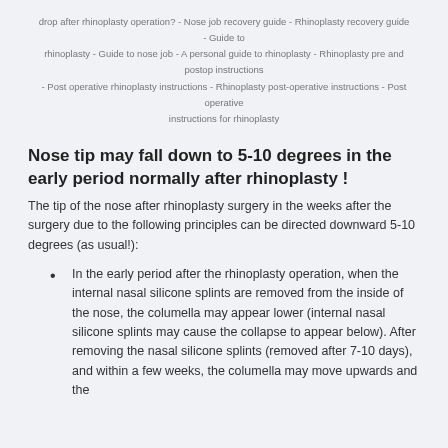drop after rhinoplasty operation? - Nose job recovery guide - Rhinoplasty recovery guide - Guide to rhinoplasty - Guide to nose job - A personal guide to rhinoplasty - Rhinoplasty pre and postop instructions - Post operative rhinoplasty instructions - Rhinoplasty post-operative instructions - Post operative instructions for rhinoplasty
Nose tip may fall down to 5-10 degrees in the early period normally after rhinoplasty !
The tip of the nose after rhinoplasty surgery in the weeks after the surgery due to the following principles can be directed downward 5-10 degrees (as usual!):
In the early period after the rhinoplasty operation, when the internal nasal silicone splints are removed from the inside of the nose, the columella may appear lower (internal nasal silicone splints may cause the collapse to appear below). After removing the nasal silicone splints (removed after 7-10 days), and within a few weeks, the columella may move upwards and the